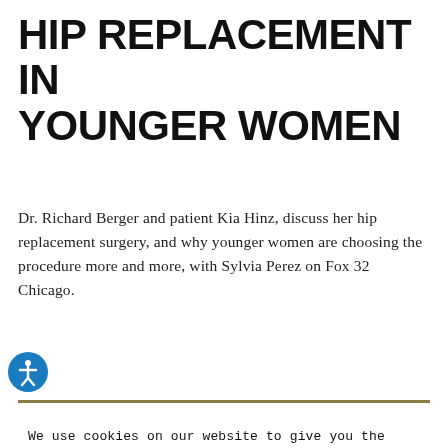HIP REPLACEMENT IN YOUNGER WOMEN
Dr. Richard Berger and patient Kia Hinz, discuss her hip replacement surgery, and why younger women are choosing the procedure more and more, with Sylvia Perez on Fox 32 Chicago.
We use cookies on our website to give you the most relevant experience by remembering your preferences and repeat visits. By clicking “Accept”, you consent to the use of ALL the cookies.
Do not sell my personal information.